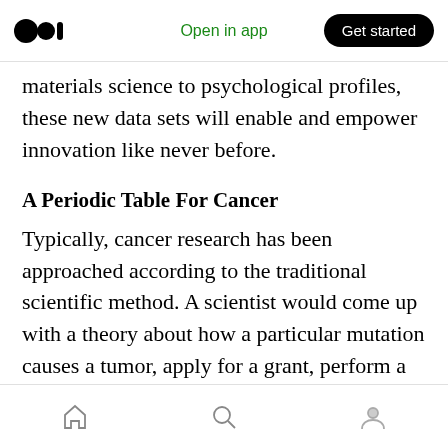Medium logo | Open in app | Get started
materials science to psychological profiles, these new data sets will enable and empower innovation like never before.
A Periodic Table For Cancer
Typically, cancer research has been approached according to the traditional scientific method. A scientist would come up with a theory about how a particular mutation causes a tumor, apply for a grant, perform a study and then publish results. But in 2005, researcher at the National Cancer Institute (NCI), saw an opportunity to go in another direction.
Home | Search | Profile